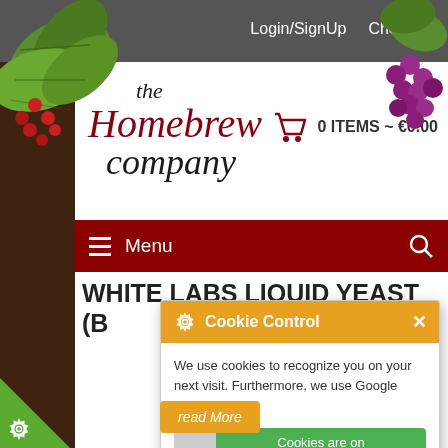Login/SignUp   Checkout
[Figure (logo): The Homebrew Company logo with cursive script text in black and dark red]
0 ITEMS ~ €0.00
Menu
WHITE LABS LIQUID YEAST (B...
[Figure (screenshot): Cookie Control popup with orange header, toggle switch showing 'Cookies are on', and 'about this tool' link]
We use cookies to recognize you on your next visit. Furthermore, we use Google Analytics.
Cookies are on
about this tool
read More